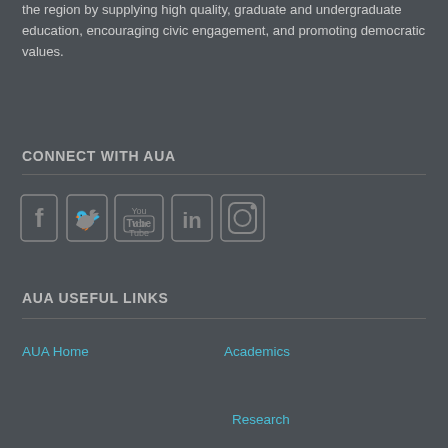the region by supplying high quality, graduate and undergraduate education, encouraging civic engagement, and promoting democratic values.
CONNECT WITH AUA
[Figure (infographic): Social media icons: Facebook, Twitter, YouTube, LinkedIn, Instagram]
AUA USEFUL LINKS
AUA Home
Academics
Research